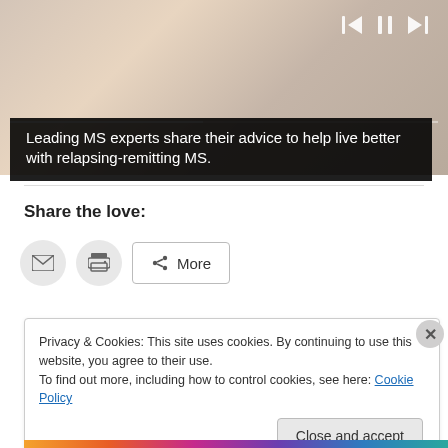[Figure (photo): A photo of a person along with media player controls (skip back, pause, skip forward) and a progress bar at the bottom of the image area.]
Leading MS experts share their advice to help live better with relapsing-remitting MS.
Share the love:
[Figure (screenshot): Social sharing buttons: email icon button, print icon button, and a More button with share icon.]
Privacy & Cookies: This site uses cookies. By continuing to use this website, you agree to their use.
To find out more, including how to control cookies, see here: Cookie Policy
Close and accept